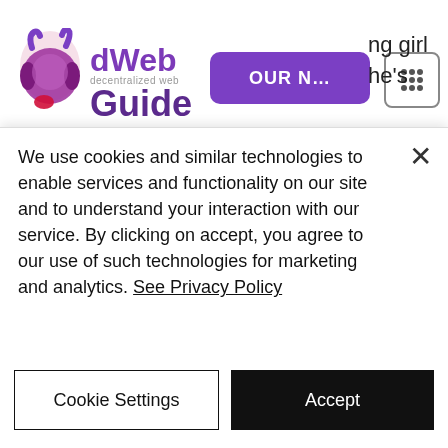dWeb decentralized web Guide — navigation bar with logo, OUR N... button, grid icon, and partial text 'ng girl he's'
made millions as a musician and TV personality on shows such as America's Got Talent, but her biggest coup may be her early adoption of crypto. In 2013, she began accepting Bitcoin as a payment method for music sales on her website, when its price was less than $950. As of February 2021, it's worth 50 times that
We use cookies and similar technologies to enable services and functionality on our site and to understand your interaction with our service. By clicking on accept, you agree to our use of such technologies for marketing and analytics. See Privacy Policy
Cookie Settings
Accept